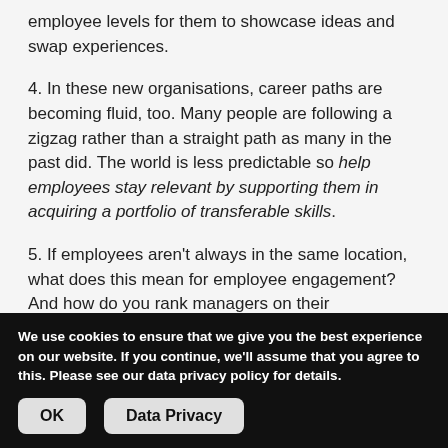employee levels for them to showcase ideas and swap experiences.
4. In these new organisations, career paths are becoming fluid, too. Many people are following a zigzag rather than a straight path as many in the past did. The world is less predictable so help employees stay relevant by supporting them in acquiring a portfolio of transferable skills.
5. If employees aren’t always in the same location, what does this mean for employee engagement? And how do you rank managers on their engagement objectives? Managers – many of whom today aren’t part of the
We use cookies to ensure that we give you the best experience on our website. If you continue, we’ll assume that you agree to this. Please see our data privacy policy for details.
OK
Data Privacy